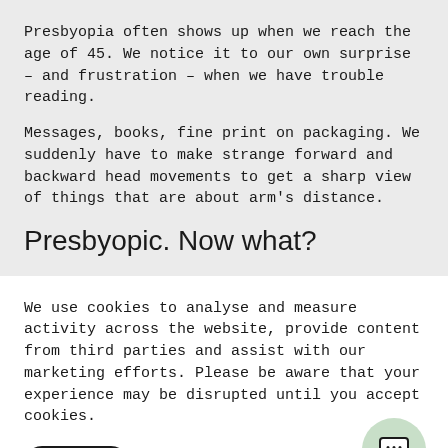Presbyopia often shows up when we reach the age of 45. We notice it to our own surprise – and frustration – when we have trouble reading.
Messages, books, fine print on packaging. We suddenly have to make strange forward and backward head movements to get a sharp view of things that are about arm's distance.
Presbyopic. Now what?
We use cookies to analyse and measure activity across the website, provide content from third parties and assist with our marketing efforts. Please be aware that your experience may be disrupted until you accept cookies.
AGREE
Customise
[Figure (illustration): Chat bubble icon with three dots inside, on a round green background]